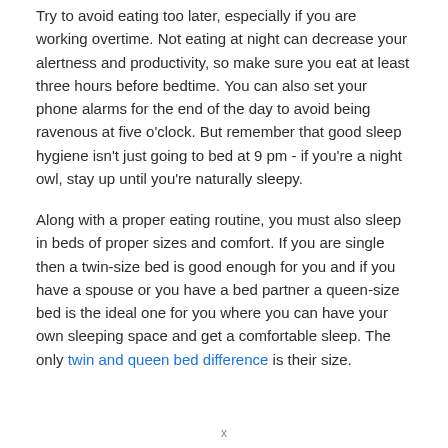Try to avoid eating too later, especially if you are working overtime. Not eating at night can decrease your alertness and productivity, so make sure you eat at least three hours before bedtime. You can also set your phone alarms for the end of the day to avoid being ravenous at five o'clock. But remember that good sleep hygiene isn't just going to bed at 9 pm - if you're a night owl, stay up until you're naturally sleepy.
Along with a proper eating routine, you must also sleep in beds of proper sizes and comfort. If you are single then a twin-size bed is good enough for you and if you have a spouse or you have a bed partner a queen-size bed is the ideal one for you where you can have your own sleeping space and get a comfortable sleep. The only twin and queen bed difference is their size.
x